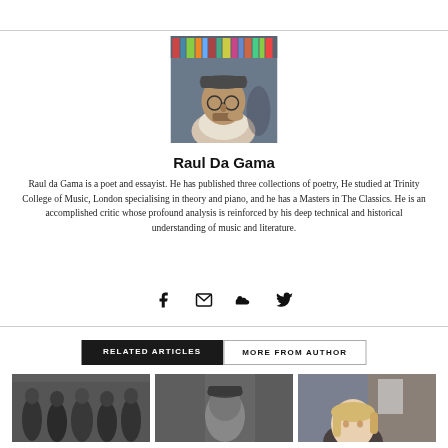[Figure (photo): Portrait photo of Raul Da Gama, a man wearing a flat cap and glasses, with bookshelves in the background]
Raul Da Gama
Raul da Gama is a poet and essayist. He has published three collections of poetry, He studied at Trinity College of Music, London specialising in theory and piano, and he has a Masters in The Classics. He is an accomplished critic whose profound analysis is reinforced by his deep technical and historical understanding of music and literature.
[Figure (other): Social media icons: Facebook, Email, SoundCloud, Twitter]
[Figure (other): Tab buttons: RELATED ARTICLES and MORE FROM AUTHOR]
[Figure (photo): Three thumbnail photos: a band group in black and white, a man with a cap in black and white, a blonde woman outdoors]